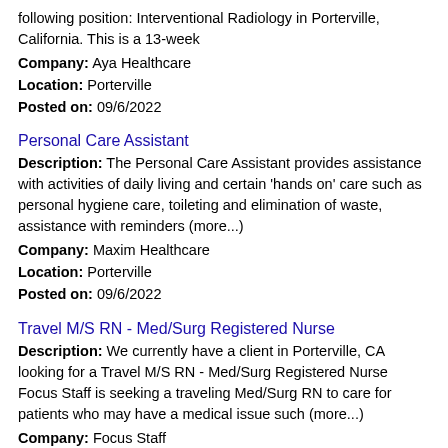following position: Interventional Radiology in Porterville, California. This is a 13-week
Company: Aya Healthcare
Location: Porterville
Posted on: 09/6/2022
Personal Care Assistant
Description: The Personal Care Assistant provides assistance with activities of daily living and certain 'hands on' care such as personal hygiene care, toileting and elimination of waste, assistance with reminders (more...)
Company: Maxim Healthcare
Location: Porterville
Posted on: 09/6/2022
Travel M/S RN - Med/Surg Registered Nurse
Description: We currently have a client in Porterville, CA looking for a Travel M/S RN - Med/Surg Registered Nurse Focus Staff is seeking a traveling Med/Surg RN to care for patients who may have a medical issue such (more...)
Company: Focus Staff
Location: Porterville
Posted on: 09/6/2022